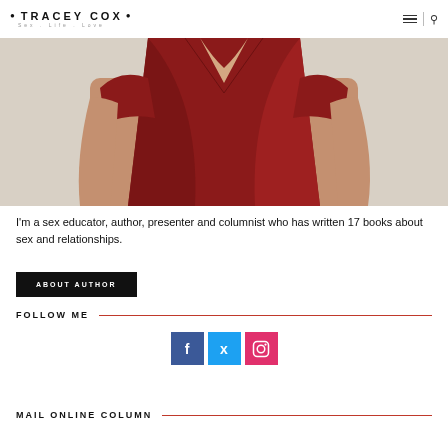• TRACEY COX • Sex . Life . Love
[Figure (photo): Woman wearing a dark red wrap top, photographed from the chest up against a light background]
I'm a sex educator, author, presenter and columnist who has written 17 books about sex and relationships.
ABOUT AUTHOR
FOLLOW ME
[Figure (infographic): Social media icons: Facebook (blue), Twitter (cyan), Instagram (pink/red)]
MAIL ONLINE COLUMN